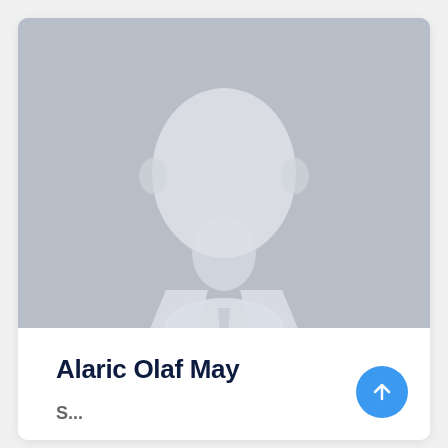[Figure (photo): Placeholder profile photo showing a blurred generic male silhouette in a suit against a grey background]
Alaric Olaf May
S...